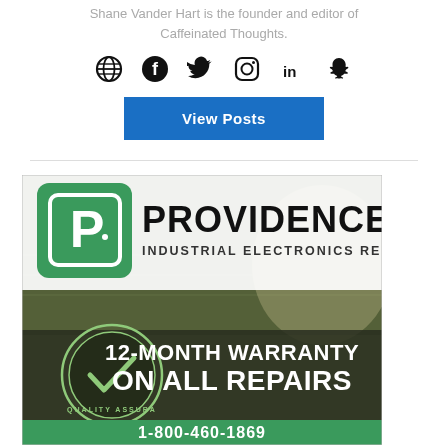Shane Vander Hart is the founder and editor of Caffeinated Thoughts.
[Figure (illustration): Row of social media icons: globe, Facebook, Twitter, Instagram, LinkedIn, Snapchat]
View Posts
[Figure (illustration): Advertisement for Providence Industrial Electronics Repair showing circuit board background, green P logo, bold PROVIDENCE text, 12-MONTH WARRANTY ON ALL REPAIRS, and phone number 1-800-460-1869]